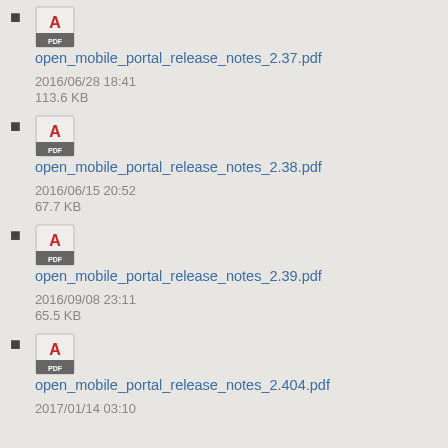open_mobile_portal_release_notes_2.37.pdf
2016/06/28 18:41
113.6 KB
open_mobile_portal_release_notes_2.38.pdf
2016/06/15 20:52
67.7 KB
open_mobile_portal_release_notes_2.39.pdf
2016/09/08 23:11
65.5 KB
open_mobile_portal_release_notes_2.404.pdf
2017/01/14 03:10